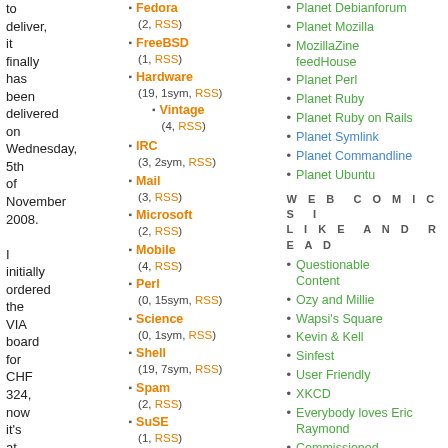to deliver, it finally has been delivered on Wednesday, 5th of November 2008.

I initially ordered the VIA board for CHF 324, now it's at CHF 397 (without rebate even at CHF
Fedora (2, RSS)
FreeBSD (1, RSS)
Hardware (19, 1sym, RSS) > Vintage (4, RSS)
IRC (3, 2sym, RSS)
Mail (3, RSS)
Microsoft (2, RSS)
Mobile (4, RSS)
Perl (0, 15sym, RSS)
Science (0, 1sym, RSS)
Shell (19, 7sym, RSS)
Spam (2, RSS)
SuSE (1, RSS)
VCS (3, RSS)
Web (46, 3sym, RSS)
Planet Debianforum
Planet Mozilla
MozillaZine feedHouse
Planet Perl
Planet Ruby
Planet Ruby on Rails
Planet Symlink
Planet Commandline
Planet Ubuntu
WEB COMICS I LIKE AND READ
Questionable Content
Ozy and Millie
Wapsi's Square
Kevin & Kell
Sinfest
User Friendly
XKCD
Everybody loves Eric Raymond
Commissioned Comic
Piled Higher and Deeper
Joy of Tech
Ctrl+Alt+Del
RealLife Comics